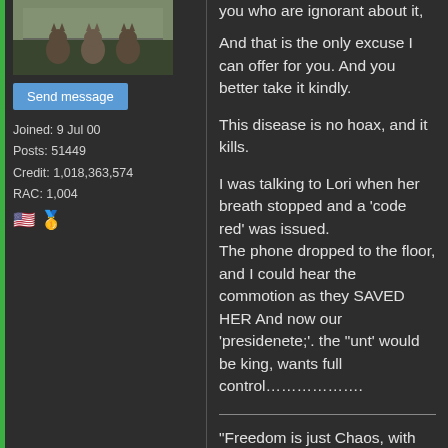[Figure (photo): Photo of cats sitting at a table or ledge]
Send message
Joined: 9 Jul 00
Posts: 51449
Credit: 1,018,363,574
RAC: 1,004
you who are ignorant about it,

And that is the only excuse I can offer for you. And you better take it kindly.

This disease is no hoax, and it kills.

I was talking to Lori when her breath stopped and a 'code red' was issued.
The phone dropped to the floor, and I could hear the commotion as they SAVED HER And now our 'presidenete;'. the "unt' would be king, wants full control…………………

"Freedom is just Chaos, with better lighting." Alan Dean Foster